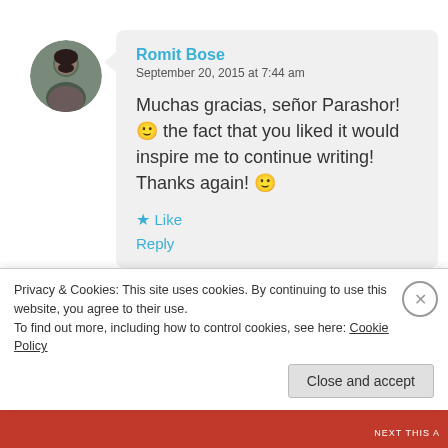[Figure (photo): Circular avatar photo of Romit Bose, a man with dark hair and beard]
Romit Bose
September 20, 2015 at 7:44 am

Muchas gracias, señor Parashor! 🙂 the fact that you liked it would inspire me to continue writing! Thanks again! 🙂

★ Like

Reply
Privacy & Cookies: This site uses cookies. By continuing to use this website, you agree to their use.
To find out more, including how to control cookies, see here: Cookie Policy
Close and accept